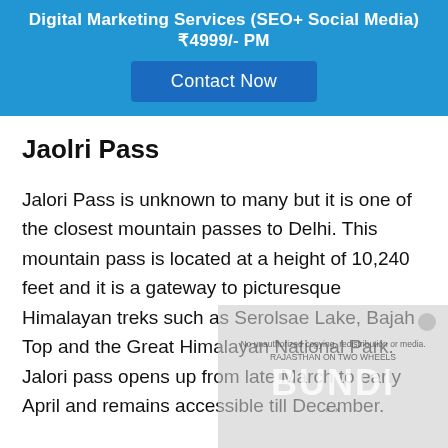Digital Marketing Services (SEO+ Social Media) ₹4999/- PM
Contact Now
Jaolri Pass
Jalori Pass is unknown to many but it is one of the closest mountain passes to Delhi. This mountain pass is located at a height of 10,240 feet and it is a gateway to picturesque Himalayan treks such as Serolsae Lake, Bajah Top and the Great Himalayan National Park. Jalori pass opens up from late March to early April and remains accessible till December.
[Figure (other): Watermarked image overlay with text 'RAJASTHAN ON TWO WHEELS - BUNDI' and associated watermark/copyright notice]